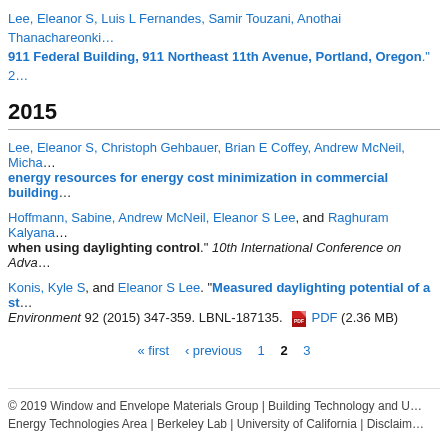Lee, Eleanor S, Luis L Fernandes, Samir Touzani, Anothai Thanachareonki... 911 Federal Building, 911 Northeast 11th Avenue, Portland, Oregon." 2...
2015
Lee, Eleanor S, Christoph Gehbauer, Brian E Coffey, Andrew McNeil, Micha... energy resources for energy cost minimization in commercial building...
Hoffmann, Sabine, Andrew McNeil, Eleanor S Lee, and Raghuram Kalyana... when using daylighting control." 10th International Conference on Adva...
Konis, Kyle S, and Eleanor S Lee. "Measured daylighting potential of a st... Environment 92 (2015) 347-359. LBNL-187135. PDF (2.36 MB)
« first  ‹ previous  1  2  3
© 2019 Window and Envelope Materials Group | Building Technology and U... Energy Technologies Area | Berkeley Lab | University of California | Disclaim...